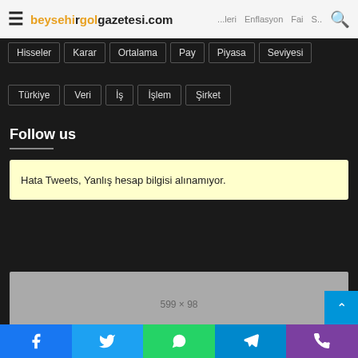beysehi̇rgolgazetesi.com
Hisseler
Karar
Ortalama
Pay
Piyasa
Seviyesi
Türkiye
Veri
İş
İşlem
Şirket
Follow us
Hata Tweets, Yanlış hesap bilgisi alınamıyor.
[Figure (other): Advertisement placeholder 599 x 98]
Facebook | Twitter | WhatsApp | Telegram | Phone